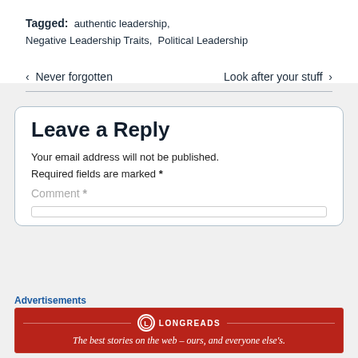Tagged: authentic leadership, Negative Leadership Traits, Political Leadership
< Never forgotten    Look after your stuff >
Leave a Reply
Your email address will not be published. Required fields are marked *
Comment *
Advertisements
[Figure (logo): Longreads advertisement banner: red background with Longreads logo and tagline 'The best stories on the web — ours, and everyone else's.']